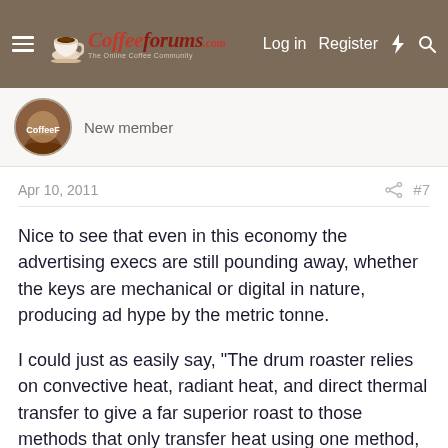CoffeeForums.com — Log in  Register
New member
Apr 10, 2011  #7
Nice to see that even in this economy the advertising execs are still pounding away, whether the keys are mechanical or digital in nature, producing ad hype by the metric tonne.
I could just as easily say, "The drum roaster relies on convective heat, radiant heat, and direct thermal transfer to give a far superior roast to those methods that only transfer heat using one method, such as infrared." Basically they are saying that it is not possible to get a superior roast with anything other than infrared, and that is just not correct.